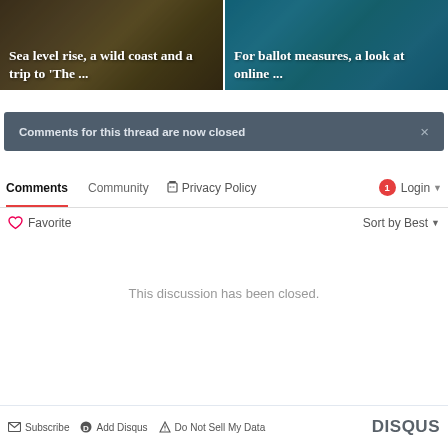[Figure (photo): Two article thumbnail cards side by side. Left card shows a nature/grass background with text: 'Sea level rise, a wild coast and a trip to The ...'. Right card shows a blue tech/digital background with text: 'For ballot measures, a look at online ...']
Comments for this thread are now closed
Comments  Community  🔒 Privacy Policy  💬 1  Login ▾
♡ Favorite  Sort by Best ▾
This discussion has been closed.
✉ Subscribe  ● Add Disqus  ▲ Do Not Sell My Data  DISQUS